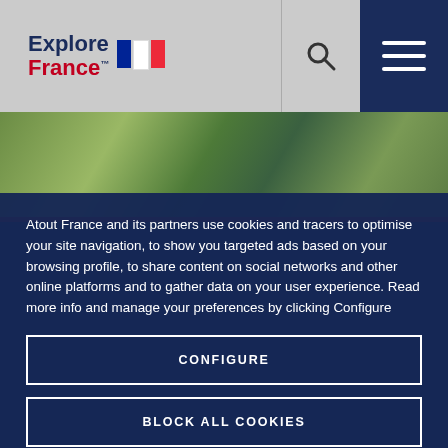[Figure (logo): Explore France logo with French flag tricolor and search/menu icons in header]
[Figure (photo): Background photo strip showing green outdoor/cycling scene with a red bottom border]
Atout France and its partners use cookies and tracers to optimise your site navigation, to show you targeted ads based on your browsing profile, to share content on social networks and other online platforms and to gather data on your user experience. Read more info and manage your preferences by clicking Configure
CONFIGURE
BLOCK ALL COOKIES
ACCEPT ALL COOKIES